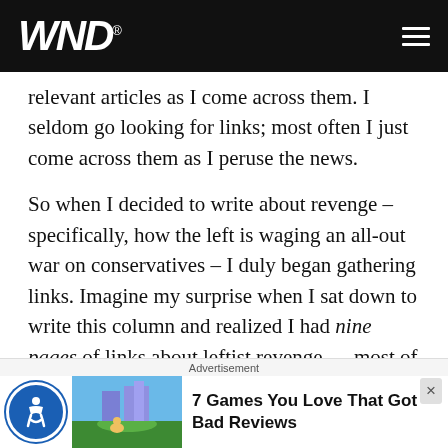WND
relevant articles as I come across them. I seldom go looking for links; most often I just come across them as I peruse the news.
So when I decided to write about revenge – specifically, how the left is waging an all-out war on conservatives – I duly began gathering links. Imagine my surprise when I sat down to write this column and realized I had nine pages of links about leftist revenge … most of them gathered just in this latest blood-bath of a week.
Like most Americans, I'm still reeling from the reality c
Advertisement
7 Games You Love That Got Bad Reviews